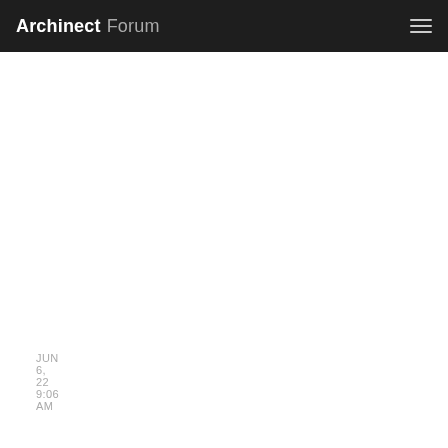Archinect Forum
JUN 6, 22 9:06 AM